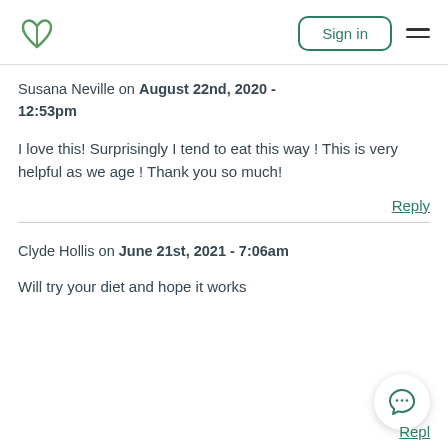Sign in
Susana Neville on August 22nd, 2020 - 12:53pm
I love this! Surprisingly I tend to eat this way ! This is very helpful as we age ! Thank you so much!
Reply
Clyde Hollis on June 21st, 2021 - 7:06am
Will try your diet and hope it works